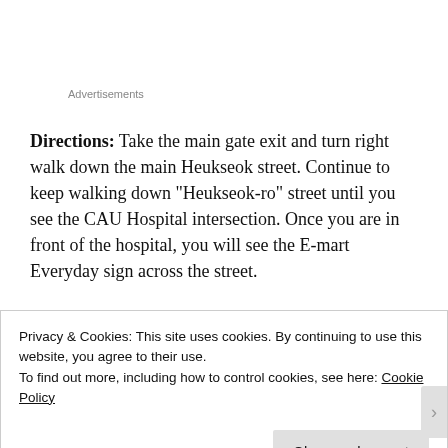Advertisements
Directions: Take the main gate exit and turn right walk down the main Heukseok street. Continue to keep walking down "Heukseok-ro" street until you see the CAU Hospital intersection. Once you are in front of the hospital, you will see the E-mart Everyday sign across the street.
Privacy & Cookies: This site uses cookies. By continuing to use this website, you agree to their use.
To find out more, including how to control cookies, see here: Cookie Policy
Close and accept